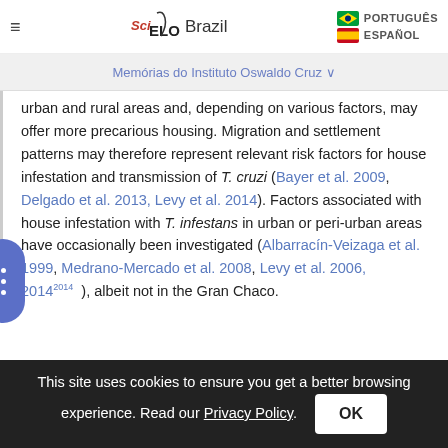SciELO Brazil — Memórias do Instituto Oswaldo Cruz
urban and rural areas and, depending on various factors, may offer more precarious housing. Migration and settlement patterns may therefore represent relevant risk factors for house infestation and transmission of T. cruzi (Bayer et al. 2009, Delgado et al. 2013, Levy et al. 2014). Factors associated with house infestation with T. infestans in urban or peri-urban areas have occasionally been investigated (Albarracín-Veizaga et al. 1999, Medrano-Mercado et al. 2008, Levy et al. 2006, 2014), albeit not in the Gran Chaco.
This site uses cookies to ensure you get a better browsing experience. Read our Privacy Policy. OK